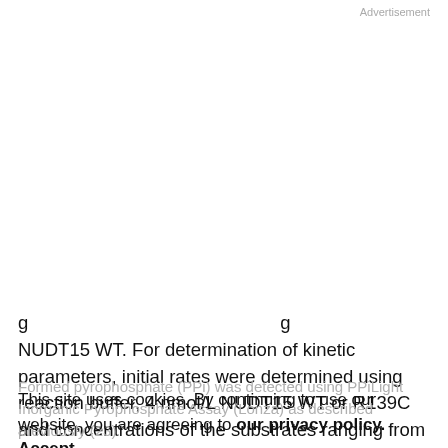Advertisement
g ... y g NUDT15 WT. For determination of kinetic parameters, initial rates were determined using reaction buffer, 4 nmol/L NUDT15 WT or R139C and concentrations of the substrates ranging from 0 to 40 μmol/L for 6-thio-dGTP and 6-thio-GTP and 0 to 50 μmol/L for dGTP and GTP (or 0–400 μmol/L for R139C). NUDT15 R139C reactions were performed in the absence or presence of 1 mmol/L DTT.
Formed pyrophosphate (PPi) was detected using PPiLight Inorganic Pyrophosphate Assay (Lonza) as described previously (23).
This site uses cookies. By continuing to use our website, you are agreeing to our privacy policy. Accept